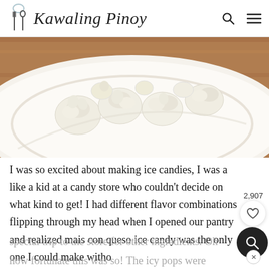Kawaling Pinoy
[Figure (photo): A white plate filled with white jackfruit pieces (langka/nangka) on a wooden surface]
I was so excited about making ice candies, I was a like a kid at a candy store who couldn't decide on what kind to get! I had different flavor combinations flipping through my head when I opened our pantry and realized mais con queso ice candy was the only one I could make without special trip to the store for other ingredients. Oh how fortunate this was so! The icy pops were